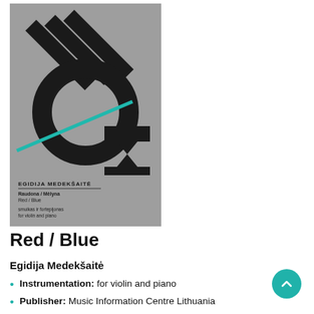[Figure (illustration): Book/score cover for Red/Blue by Egidija Medekšaitė. Gray background with large abstract bold black letterforms and a diagonal teal/cyan line. Bottom section shows composer name EGIDIJA MEDEKŠAITĖ, title Raudona/Mėlyna Red/Blue, instrumentation: smuikas ir fortepijonas / for violin and piano.]
Red / Blue
Egidija Medekšaitė
Instrumentation: for violin and piano
Publisher: Music Information Centre Lithuania
Year: 2019
Price: 2.50 €